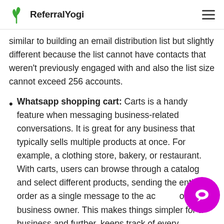ReferralYogi
similar to building an email distribution list but slightly different because the list cannot have contacts that weren't previously engaged with and also the list size cannot exceed 256 accounts.
Whatsapp shopping cart: Carts is a handy feature when messaging business-related conversations. It is great for any business that typically sells multiple products at once. For example, a clothing store, bakery, or restaurant. With carts, users can browse through a catalog and select different products, sending the entire order as a single message to the account or business owner. This makes things simpler for a business and further, keeps track of every